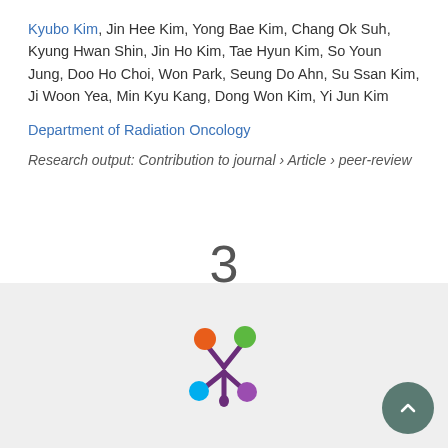Kyubo Kim, Jin Hee Kim, Yong Bae Kim, Chang Ok Suh, Kyung Hwan Shin, Jin Ho Kim, Tae Hyun Kim, So Youn Jung, Doo Ho Choi, Won Park, Seung Do Ahn, Su Ssan Kim, Ji Woon Yea, Min Kyu Kang, Dong Won Kim, Yi Jun Kim
Department of Radiation Oncology
Research output: Contribution to journal › Article › peer-review
3
Scopus
citations
[Figure (logo): Altmetric logo — a colorful asterisk/flower shape with orange, green, cyan, and purple circles on a dark purple stem, on a light grey background]